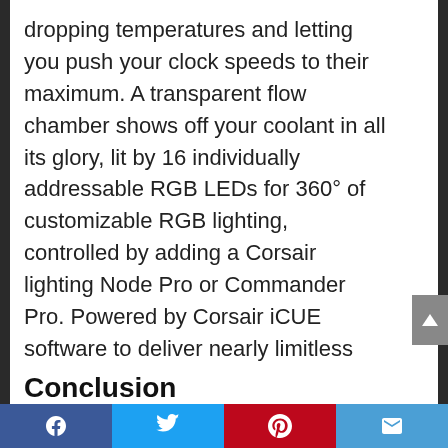dropping temperatures and letting you push your clock speeds to their maximum. A transparent flow chamber shows off your coolant in all its glory, lit by 16 individually addressable RGB LEDs for 360° of customizable RGB lighting, controlled by adding a Corsair lighting Node Pro or Commander Pro. Powered by Corsair iCUE software to deliver nearly limitless lighting customization and control, the XC7 is ready to become to become the centerpiece of your custom cooling system. Tech Support # 1-888-222-4346 opt #1
Conclusion
[Figure (other): Social sharing bar with Facebook, Twitter, Pinterest, and Email buttons]